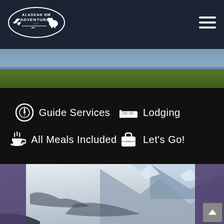Alaskan NW Adventures LLC — Navigation header with hamburger menu
[Figure (photo): Wide landscape photo showing flat green tundra under a grey-blue sky]
Guide Services
Lodging
All Meals Included
Let's Go!
[Figure (photo): Snow-covered mountain peaks and slopes, viewed from inside a vehicle, under grey sky]